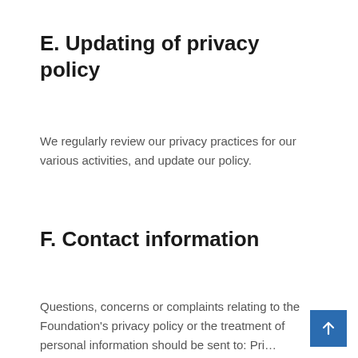E. Updating of privacy policy
We regularly review our privacy practices for our various activities, and update our policy.
F. Contact information
Questions, concerns or complaints relating to the Foundation's privacy policy or the treatment of personal information should be sent to: Pri…